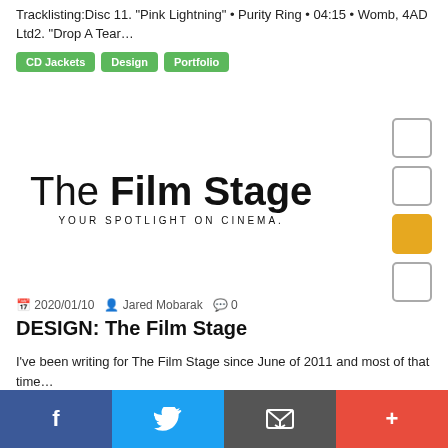Tracklisting:Disc 11. “Pink Lightning” • Purity Ring • 04:15 • Womb, 4AD Ltd2. “Drop A Tear…
CD Jackets
Design
Portfolio
[Figure (logo): The Film Stage logo with tagline YOUR SPOTLIGHT ON CINEMA and decorative checkbox squares on the right side]
2020/01/10  Jared Mobarak  0
DESIGN: The Film Stage
I’ve been writing for The Film Stage since June of 2011 and most of that time…
Design
Logo/Branding
Portfolio